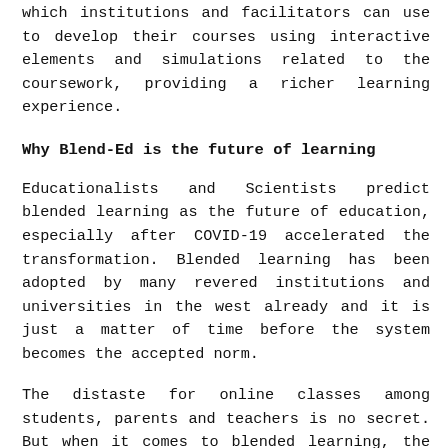which institutions and facilitators can use to develop their courses using interactive elements and simulations related to the coursework, providing a richer learning experience.
Why Blend-Ed is the future of learning
Educationalists and Scientists predict blended learning as the future of education, especially after COVID-19 accelerated the transformation. Blended learning has been adopted by many revered institutions and universities in the west already and it is just a matter of time before the system becomes the accepted norm.
The distaste for online classes among students, parents and teachers is no secret. But when it comes to blended learning, the picture is bound to be renovated. Today's generation is familiar with the technological platforms and resources and when learning is a process that is motivated from within, the ability to learn scales beyond what a regular preset curriculum demands the students to learn,